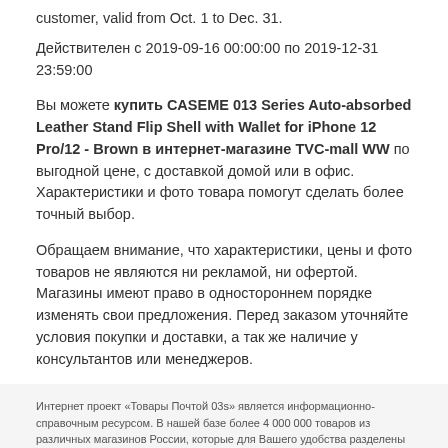customer, valid from Oct. 1 to Dec. 31.
Действителен с 2019-09-16 00:00:00 по 2019-12-31 23:59:00
Вы можете купить CASEME 013 Series Auto-absorbed Leather Stand Flip Shell with Wallet for iPhone 12 Pro/12 - Brown в интернет-магазине TVC-mall WW по выгодной цене, с доставкой домой или в офис. Характеристики и фото товара помогут сделать более точный выбор.
Обращаем внимание, что характеристики, цены и фото товаров не являются ни рекламой, ни офертой. Магазины имеют право в одностороннем порядке изменять свои предложения. Перед заказом уточняйте условия покупки и доставки, а так же наличие у консультантов или менеджеров.
Интернет проект «Товары Почтой 03s» является информационно-справочным ресурсом. В нашей базе более 4 000 000 товаров из различных магазинов России, которые для Вашего удобства разделены на категории. Обращаем внимание, что информация о магазинах и товарах актуально только на момент публикации, фото, цены и другие параметры товаров, информация о магазинах, способах оплаты и доставки не являются рекламой или офертой. Перед тем как купить интересующие товары уточняйте их наличие, актуальную информацию о стоимости и возможности доставки или самовывоза у продавцов. Наш сайт не несет ответственности за качество предлагаемой продукции и корректность информации, так же администрация полностью снимает с себя ответственность за возможный вред в результате любого